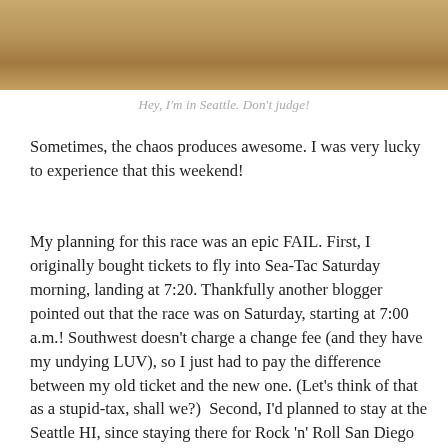[Figure (photo): Partial photo showing what appears to be a wooden surface with an object on it, cropped at top of page]
Hey, I'm in Seattle. Don't judge!
Sometimes, the chaos produces awesome. I was very lucky to experience that this weekend!
My planning for this race was an epic FAIL. First, I originally bought tickets to fly into Sea-Tac Saturday morning, landing at 7:20. Thankfully another blogger pointed out that the race was on Saturday, starting at 7:00 a.m.! Southwest doesn't charge a change fee (and they have my undying LUV), so I just had to pay the difference between my old ticket and the new one. (Let's think of that as a stupid-tax, shall we?)  Second, I'd planned to stay at the Seattle HI, since staying there for Rock 'n' Roll San Diego worked out so well. But I got